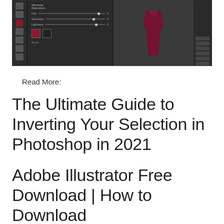[Figure (screenshot): Adobe Photoshop interface screenshot showing a Vibrance/Saturation panel on the left with sliders and a red color swatch, a canvas area in the center displaying a dark red/maroon dress or fabric, and a dark right panel with icons.]
Read More:
The Ultimate Guide to Inverting Your Selection in Photoshop in 2021
Adobe Illustrator Free Download | How to Download and Install the Full Version 2021